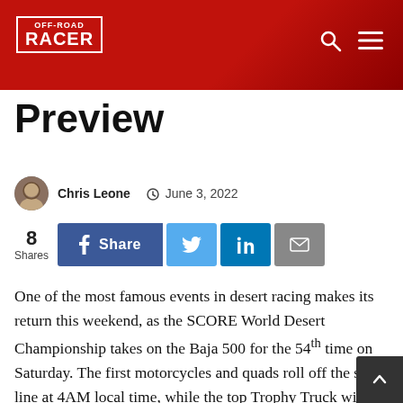OFF-ROAD RACER
Preview
Chris Leone  June 3, 2022
8 Shares  Share  (Twitter) (LinkedIn) (Email)
One of the most famous events in desert racing makes its return this weekend, as the SCORE World Desert Championship takes on the Baja 500 for the 54th time on Saturday. The first motorcycles and quads roll off the start line at 4AM local time, while the top Trophy Truck will take to the course at 9AM.